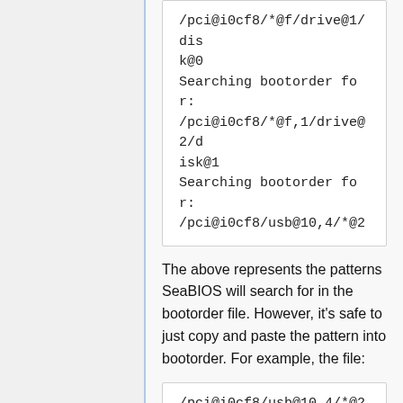/pci@i0cf8/*@f/drive@1/disk@0
Searching bootorder for: /pci@i0cf8/*@f,1/drive@2/disk@1
Searching bootorder for: /pci@i0cf8/usb@10,4/*@2
The above represents the patterns SeaBIOS will search for in the bootorder file. However, it's safe to just copy and paste the pattern into bootorder. For example, the file:
/pci@i0cf8/usb@10,4/*@2
/pci@i0cf8/*@f/drive@1/disk@0
will instruct SeaBIOS to attempt to boot from the given USB drive first and then attempt the given ATA harddrive second.